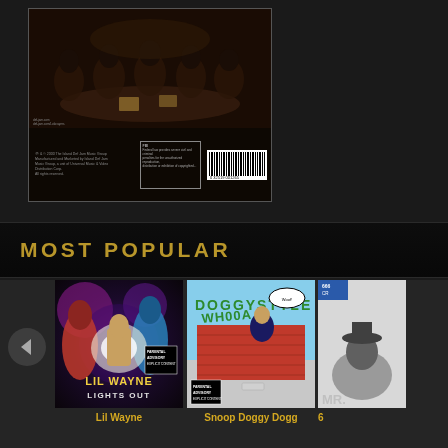[Figure (photo): Back cover of a rap/hip-hop album showing people seated at a table in a dark setting, with album barcode and small text visible at bottom]
MOST POPULAR
[Figure (photo): Lil Wayne – Lights Out album cover showing stylized figures with parental advisory sticker]
[Figure (photo): Snoop Doggy Dogg album cover with cartoon/comic art style showing graffiti wall imagery with parental advisory sticker]
[Figure (photo): Partial album cover visible on right edge, partially cropped]
Lil Wayne
Snoop Doggy Dogg